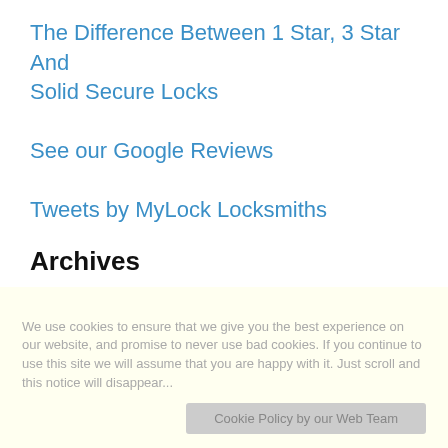The Difference Between 1 Star, 3 Star And Solid Secure Locks
See our Google Reviews
Tweets by MyLock Locksmiths
Archives
August 2022
July 2022
June 2022
May 2022
April 2022
April 2019
We use cookies to ensure that we give you the best experience on our website, and promise to never use bad cookies. If you continue to use this site we will assume that you are happy with it. Just scroll and this notice will disappear...
Cookie Policy by our Web Team